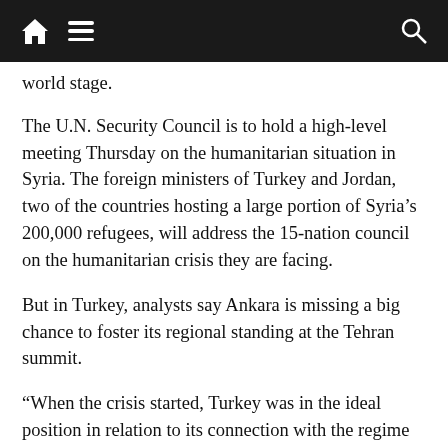[navigation bar with home, menu, and search icons]
world stage.
The U.N. Security Council is to hold a high-level meeting Thursday on the humanitarian situation in Syria. The foreign ministers of Turkey and Jordan, two of the countries hosting a large portion of Syria’s 200,000 refugees, will address the 15-nation council on the humanitarian crisis they are facing.
But in Turkey, analysts say Ankara is missing a big chance to foster its regional standing at the Tehran summit.
“When the crisis started, Turkey was in the ideal position in relation to its connection with the regime in Damascus, but also with its ability to talk with regimes in the Middle East,” said analyst Sinan Ulgen of the Istanbul-based international-relations research institute, Edam. “However, as Turkey being one of the countries closely aligned with the Syrian